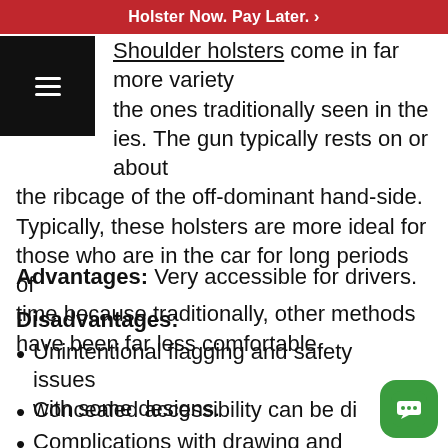Holster Now. Pay Later. >
Shoulder holsters come in far more variety the ones traditionally seen in the ies. The gun typically rests on or about the ribcage of the off-dominant hand-side. Typically, these holsters are more ideal for those who are in the car for long periods of time because traditionally, other methods have been far less comfortable.
Advantages: Very accessible for drivers.
Disadvantages:
Unintentional flagging and safety issues with some designs.
Concealed accessibility can be di...
Complications with drawing and